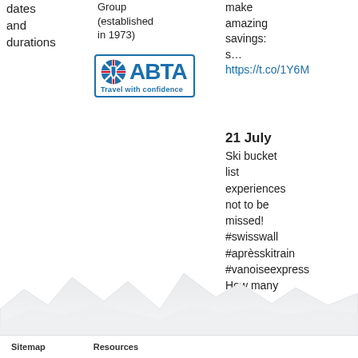dates and durations
Group (established in 1973)
[Figure (logo): ABTA Travel with confidence logo — blue roundel with Union Jack and shield, blue lettering ABTA, tagline 'Travel with confidence']
make amazing savings: s... https://t.co/1Y6M
21 July
Ski bucket list experiences not to be missed! #swisswall #aprèsskitrain #vanoiseexpress How many of our European to… https://t.co/XbuH
See more
[Figure (illustration): Mountain silhouette skyline illustration in light grey/white tones at bottom of page]
Sitemap    Resources